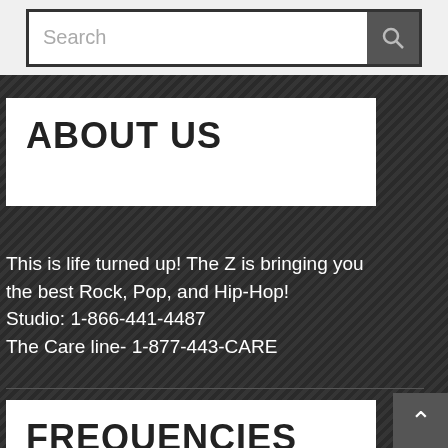Search
ABOUT US
This is life turned up! The Z is bringing you the best Rock, Pop, and Hip-Hop!
Studio: 1-866-441-4487
The Care line- 1-877-443-CARE
FREQUENCIES